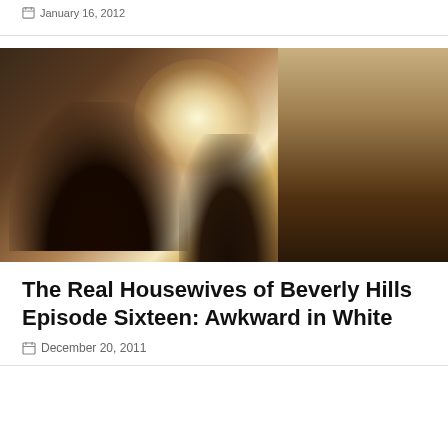January 16, 2012
[Figure (photo): Two women facing each other at an indoor event, with a large crystal chandelier glowing brightly in the background and white-paned French doors visible on the right side of the image.]
The Real Housewives of Beverly Hills Episode Sixteen: Awkward in White
December 20, 2011